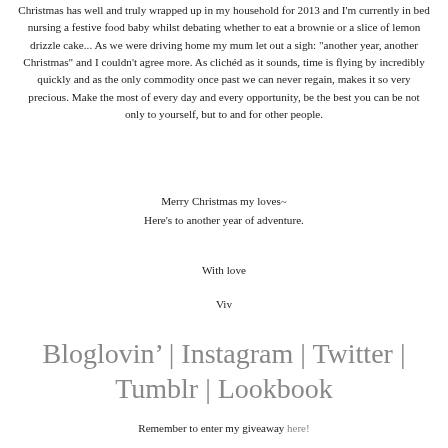Christmas has well and truly wrapped up in my household for 2013 and I'm currently in bed nursing a festive food baby whilst debating whether to eat a brownie or a slice of lemon drizzle cake... As we were driving home my mum let out a sigh: "another year, another Christmas" and I couldn't agree more. As clichéd as it sounds, time is flying by incredibly quickly and as the only commodity once past we can never regain, makes it so very precious. Make the most of every day and every opportunity, be the best you can be not only to yourself, but to and for other people.
Merry Christmas my loves~
Here's to another year of adventure.
With love
Viv
Bloglovin' | Instagram | Twitter | Tumblr | Lookbook
Remember to enter my giveaway here!